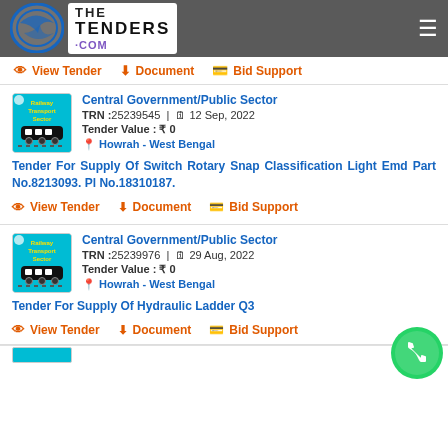The Tenders .COM
View Tender | Document | Bid Support
[Figure (logo): Railway Transport Sector logo with train illustration on teal background]
Central Government/Public Sector
TRN :25239545 | 12 Sep, 2022
Tender Value : ₹ 0
Howrah - West Bengal
Tender For Supply Of Switch Rotary Snap Classification Light Emd Part No.8213093. Pl No.18310187.
View Tender | Document | Bid Support
[Figure (logo): Railway Transport Sector logo with train illustration on teal background]
Central Government/Public Sector
TRN :25239976 | 29 Aug, 2022
Tender Value : ₹ 0
Howrah - West Bengal
Tender For Supply Of Hydraulic Ladder Q3
View Tender | Document | Bid Support